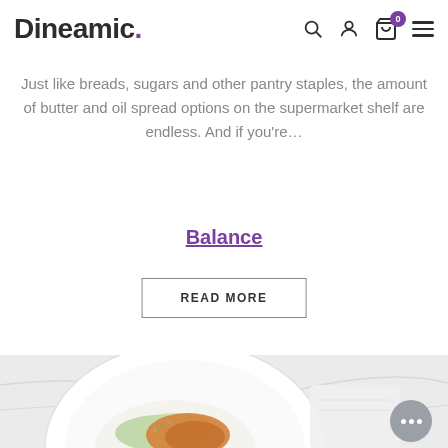Dineamic.
Just like breads, sugars and other pantry staples, the amount of butter and oil spread options on the supermarket shelf are endless. And if you're…
Balance
READ MORE
[Figure (photo): A white plate with a rice and vegetable dish topped with orange-colored protein, photographed from above on a light marble surface with a white cloth napkin.]